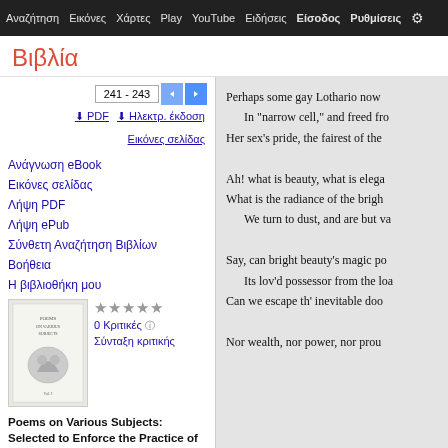Αναζήτηση Εικόνες Χάρτες Play YouTube Ειδήσεις Είσοδος Ρυθμίσεις
Βιβλία
Εικόνες σελίδας
241 - 243
PDF  Ηλεκτρ. έκδοση
Ανάγνωση eBook
Εικόνες σελίδας
Λήψη PDF
Λήψη ePub
Σύνθετη Αναζήτηση Βιβλίων
Βοήθεια
Η βιβλιοθήκη μου
0 Κριτικές  Σύνταξη κριτικής
Poems on Various Subjects: Selected to Enforce the Practice of Virtue, and
Perhaps some gay Lothario now
In "narrow cell," and freed fro
Her sex's pride, the fairest of the

Ah! what is beauty, what is elega
What is the radiance of the brigh
  We turn to dust, and are but va

Say, can bright beauty's magic po
  Its lov'd possessor from the loa
Can we escape th' inevitable doo

Nor wealth, nor power, nor prou